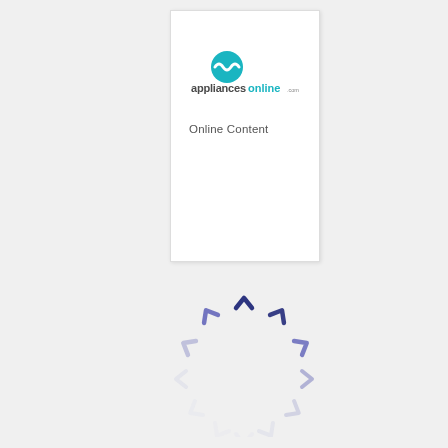[Figure (logo): Appliances Online logo with teal wave icon and text 'appliancesonline .com.au', with 'Online Content' label below]
[Figure (infographic): Loading spinner made of chevron/arrow shapes arranged in a circle, darker blue/purple at top fading to light gray at bottom, indicating a loading state]